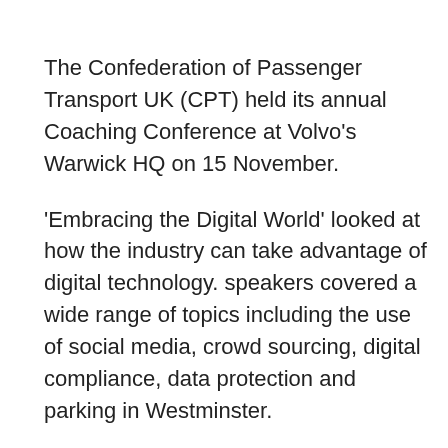The Confederation of Passenger Transport UK (CPT) held its annual Coaching Conference at Volvo's Warwick HQ on 15 November.
'Embracing the Digital World' looked at how the industry can take advantage of digital technology. speakers covered a wide range of topics including the use of social media, crowd sourcing, digital compliance, data protection and parking in Westminster.
I'm indebted to trade magazine Bus & Coach Buyer for permission to reproduce part of a full report by Chris Peat that gives a useful and informative update on the issues facing coach operators across the country. To see the full report, go to